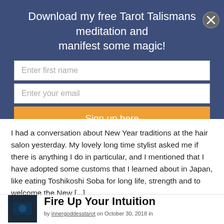Download my free Tarot Talismans meditation and manifest some magic!
Enter first name
Enter your email
Sign up here
I had a conversation about New Year traditions at the hair salon yesterday. My lovely long time stylist asked me if there is anything I do in particular, and I mentioned that I have adopted some customs that I learned about in Japan, like eating Toshikoshi Soba for long life, strength and to welcome the New [...]
[Figure (photo): Dark thumbnail image for article Fire Up Your Intuition]
Fire Up Your Intuition
by innergoddesstarot on October 30, 2018 in